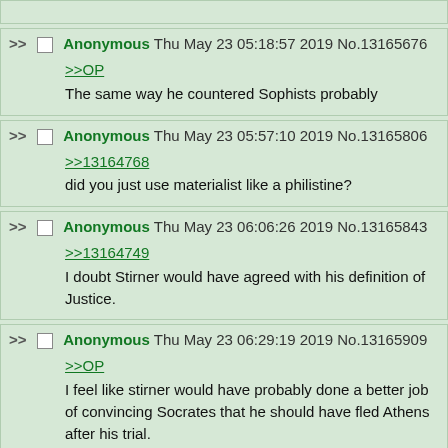(partial post top)
Anonymous Thu May 23 05:18:57 2019 No.13165676
>>OP
The same way he countered Sophists probably
Anonymous Thu May 23 05:57:10 2019 No.13165806
>>13164768
did you just use materialist like a philistine?
Anonymous Thu May 23 06:06:26 2019 No.13165843
>>13164749
I doubt Stirner would have agreed with his definition of Justice.
Anonymous Thu May 23 06:29:19 2019 No.13165909
>>OP
I feel like stirner would have probably done a better job of convincing Socrates that he should have fled Athens after his trial.